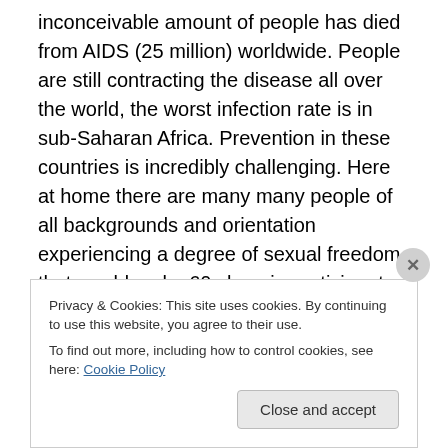inconceivable amount of people has died from AIDS (25 million) worldwide. People are still contracting the disease all over the world, the worst infection rate is in sub-Saharan Africa. Prevention in these countries is incredibly challenging. Here at home there are many many people of all backgrounds and orientation experiencing a degree of sexual freedom that would make 60s love-in participants blush. It's likely that safe sex is not often practiced. AIDS is no longer seen as a death sentence, but something for which you can take a pill (and not a regime of dozens of pills at specific times of the day). But it is still a helluva
Privacy & Cookies: This site uses cookies. By continuing to use this website, you agree to their use.
To find out more, including how to control cookies, see here: Cookie Policy